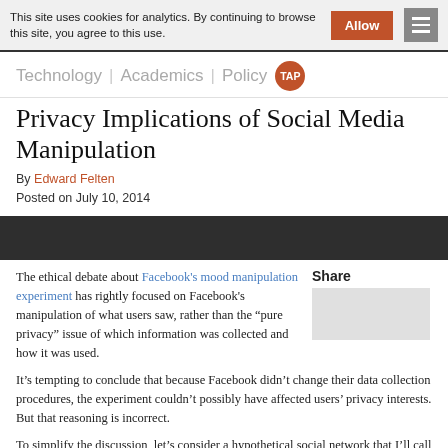This site uses cookies for analytics. By continuing to browse this site, you agree to this use.
Technology | Academics | Policy TAP
Privacy Implications of Social Media Manipulation
By Edward Felten
Posted on July 10, 2014
[Figure (photo): Dark image strip, likely article header photo]
The ethical debate about Facebook's mood manipulation experiment has rightly focused on Facebook's manipulation of what users saw, rather than the “pure privacy” issue of which information was collected and how it was used.
It’s tempting to conclude that because Facebook didn’t change their data collection procedures, the experiment couldn’t possibly have affected users’ privacy interests. But that reasoning is incorrect.
To simplify the discussion, let’s consider a hypothetical social network that I’ll call We. We lets people set up accounts and establish mutual friend